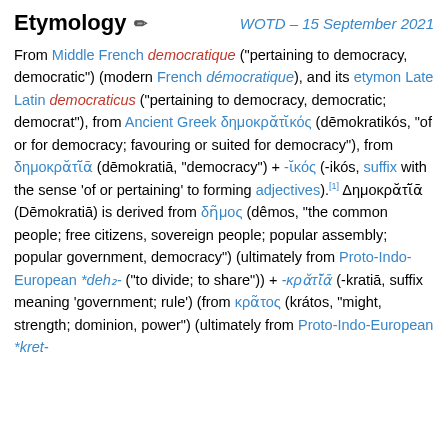Etymology
WOTD – 15 September 2021
From Middle French democratique ("pertaining to democracy, democratic") (modern French démocratique), and its etymon Late Latin democraticus ("pertaining to democracy, democratic; democrat"), from Ancient Greek δημοκρᾰτῐκός (dēmokratikós, "of or for democracy; favouring or suited for democracy"), from δημοκρᾰτῐ̄ᾱ (dēmokratiā, "democracy") + -ῐκός (-ikós, suffix with the sense 'of or pertaining' to forming adjectives).[1] Δημοκρᾰτῐ̄ᾱ (Dēmokratiā) is derived from δῆμος (dêmos, "the common people; free citizens, sovereign people; popular assembly; popular government, democracy") (ultimately from Proto-Indo-European *deh₂- ("to divide; to share")) + -κρᾰτῐ̄ᾱ (-kratiā, suffix meaning 'government; rule') (from κρᾶτος (krátos, "might, strength; dominion, power") (ultimately from Proto-Indo-European *kret-